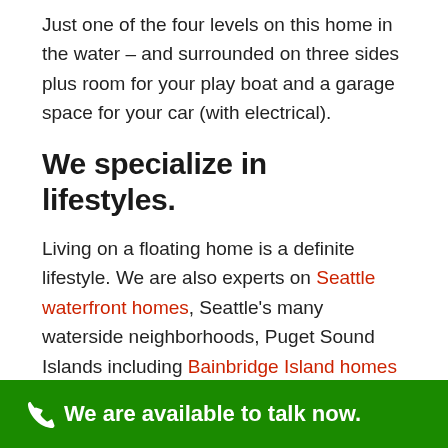Just one of the four levels on this home in the water – and surrounded on three sides plus room for your play boat and a garage space for your car (with electrical).
We specialize in lifestyles.
Living on a floating home is a definite lifestyle. We are also experts on Seattle waterfront homes, Seattle's many waterside neighborhoods, Puget Sound Islands including Bainbridge Island homes
We are available to talk now.